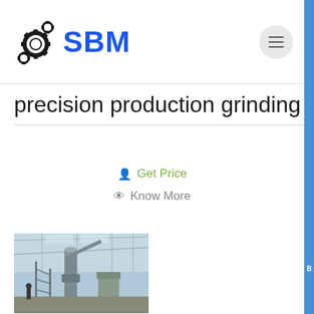SBM
precision production grinding
Get Price
Know More
[Figure (photo): Industrial grinding machine in a factory/warehouse setting with large machinery and scaffolding]
Precision Grinders, Grinding Precision Production ,
Precision Grinders Phone and Map of Address 11